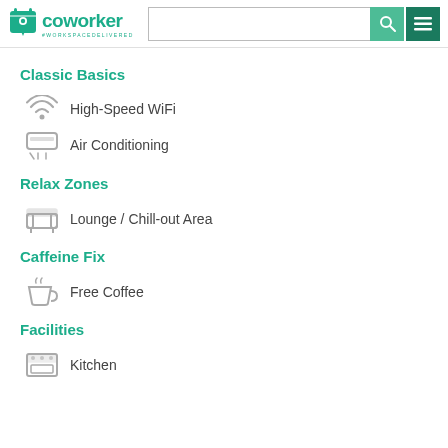coworker #WORKSPACEDELIVERED
Classic Basics
High-Speed WiFi
Air Conditioning
Relax Zones
Lounge / Chill-out Area
Caffeine Fix
Free Coffee
Facilities
Kitchen